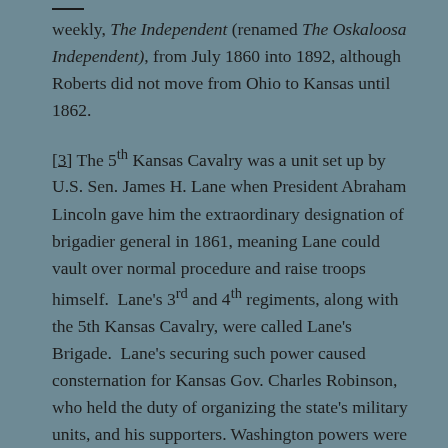weekly, The Independent (renamed The Oskaloosa Independent), from July 1860 into 1892, although Roberts did not move from Ohio to Kansas until 1862.
[3] The 5th Kansas Cavalry was a unit set up by U.S. Sen. James H. Lane when President Abraham Lincoln gave him the extraordinary designation of brigadier general in 1861, meaning Lane could vault over normal procedure and raise troops himself. Lane's 3rd and 4th regiments, along with the 5th Kansas Cavalry, were called Lane's Brigade. Lane's securing such power caused consternation for Kansas Gov. Charles Robinson, who held the duty of organizing the state's military units, and his supporters. Washington powers were well aware of Lane's strong ties to his Kansas men, many from territorial days, and the recruiting power he would